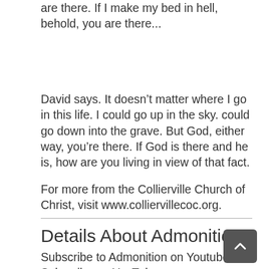are there. If I make my bed in hell, behold, you are there...
David says. It doesn’t matter where I go in this life. I could go up in the sky. could go down into the grave. But God, either way, you’re there. If God is there and he is, how are you living in view of that fact.
For more from the Collierville Church of Christ, visit www.colliervillecoc.org.
Details About Admonition
Subscribe to Admonition on Youtube: Subscribe on YouTube –